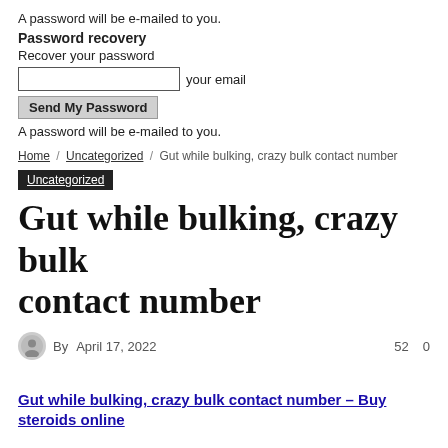A password will be e-mailed to you.
Password recovery
Recover your password
[input field] your email
Send My Password
A password will be e-mailed to you.
Home / Uncategorized / Gut while bulking, crazy bulk contact number
Uncategorized
Gut while bulking, crazy bulk contact number
By  April 17, 2022   52  0
Gut while bulking, crazy bulk contact number – Buy steroids online